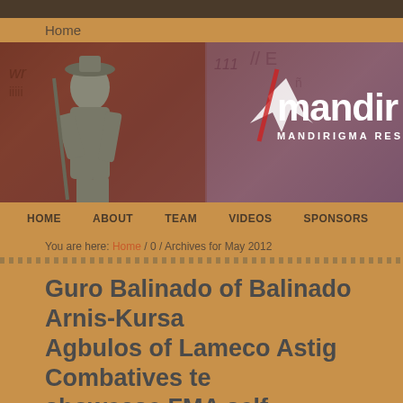Home
[Figure (illustration): Mandirigma website banner showing a warrior statue on a reddish-brown textured background with the text 'mandir' and 'MANDIRIGMA RES' (partially cropped)]
HOME   ABOUT   TEAM   VIDEOS   SPONSORS
You are here: Home / 0 / Archives for May 2012
Guro Balinado of Balinado Arnis-Kursad Agbulos of Lameco Astig Combatives to showcase FMA self-defense and combat FILIPINO MARTIAL ARTS SUMMERCA GERMANY 2013